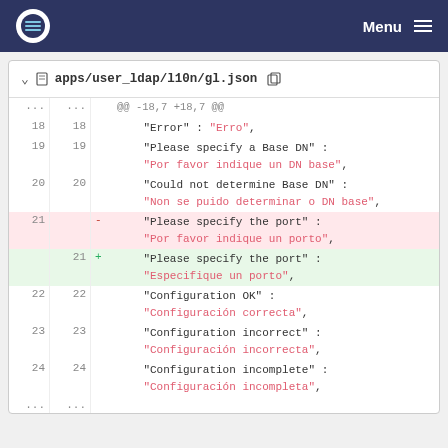Menu
apps/user_ldap/l10n/gl.json
| old | new | op | code |
| --- | --- | --- | --- |
| ... | ... |  | @@ -18,7 +18,7 @@ |
| 18 | 18 |  |     "Error" : "Erro", |
| 19 | 19 |  |     "Please specify a Base DN" :
    "Por favor indique un DN base", |
| 20 | 20 |  |     "Could not determine Base DN" :
    "Non se puido determinar o DN base", |
| 21 |  | - |     "Please specify the port" :
    "Por favor indique un porto", |
|  | 21 | + |     "Please specify the port" :
    "Especifique un porto", |
| 22 | 22 |  |     "Configuration OK" :
    "Configuración correcta", |
| 23 | 23 |  |     "Configuration incorrect" :
    "Configuración incorrecta", |
| 24 | 24 |  |     "Configuration incomplete" :
    "Configuración incompleta", |
| ... | ... |  |  |